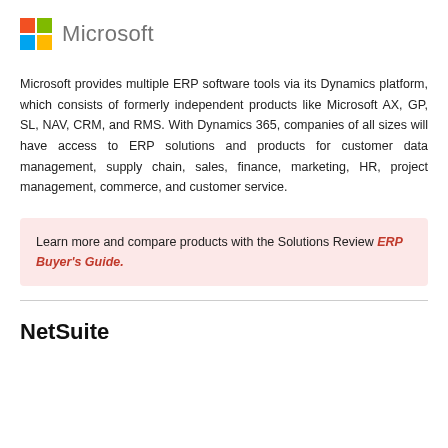[Figure (logo): Microsoft logo with four-color Windows flag icon and 'Microsoft' wordmark in grey]
Microsoft provides multiple ERP software tools via its Dynamics platform, which consists of formerly independent products like Microsoft AX, GP, SL, NAV, CRM, and RMS. With Dynamics 365, companies of all sizes will have access to ERP solutions and products for customer data management, supply chain, sales, finance, marketing, HR, project management, commerce, and customer service.
Learn more and compare products with the Solutions Review ERP Buyer's Guide.
NetSuite